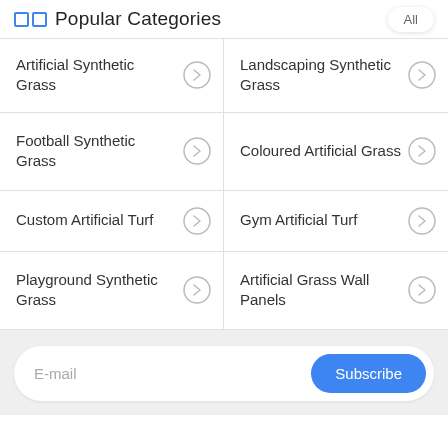Popular Categories
Artificial Synthetic Grass
Landscaping Synthetic Grass
Football Synthetic Grass
Coloured Artificial Grass
Custom Artificial Turf
Gym Artificial Turf
Playground Synthetic Grass
Artificial Grass Wall Panels
E-mail
Subscribe